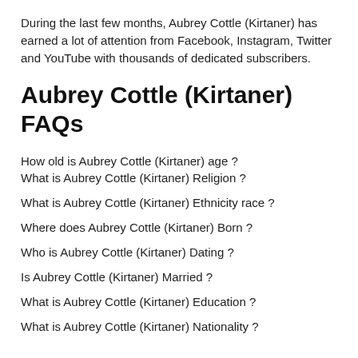During the last few months, Aubrey Cottle (Kirtaner) has earned a lot of attention from Facebook, Instagram, Twitter and YouTube with thousands of dedicated subscribers.
Aubrey Cottle (Kirtaner) FAQs
How old is Aubrey Cottle (Kirtaner) age ?
What is Aubrey Cottle (Kirtaner) Religion ?
What is Aubrey Cottle (Kirtaner) Ethnicity race ?
Where does Aubrey Cottle (Kirtaner) Born ?
Who is Aubrey Cottle (Kirtaner) Dating ?
Is Aubrey Cottle (Kirtaner) Married ?
What is Aubrey Cottle (Kirtaner) Education ?
What is Aubrey Cottle (Kirtaner) Nationality ?